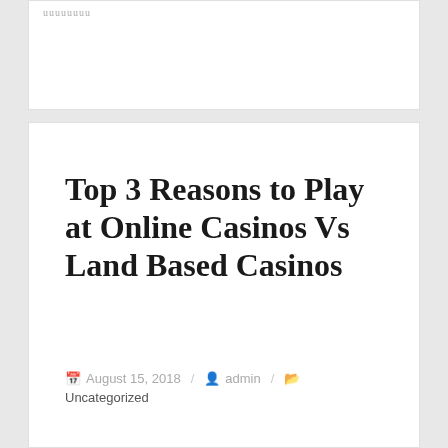uuuuuuuu
Top 3 Reasons to Play at Online Casinos Vs Land Based Casinos
August 15, 2018 / admin / Uncategorized
[Figure (photo): Broken image placeholder at top of article]